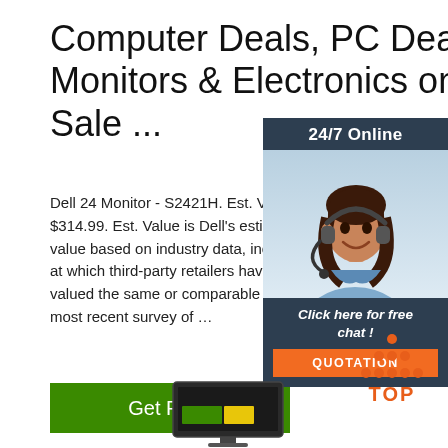Computer Deals, PC Deals, Monitors & Electronics on Sale ...
Dell 24 Monitor - S2421H. Est. Value CA $314.99. Est. Value is Dell's estimate of value based on industry data, including the prices at which third-party retailers have offered or valued the same or comparable products, based on most recent survey of …
[Figure (other): Green 'Get Price' button]
[Figure (other): Chat widget with woman in headset, '24/7 Online' header, 'Click here for free chat!' text and orange QUOTATION button]
[Figure (other): TOP button with orange dots forming triangle above the word TOP]
[Figure (other): Computer monitor image at bottom of page]